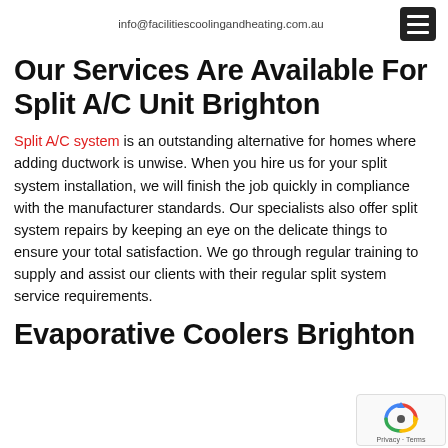info@facilitiescoolingandheating.com.au
Our Services Are Available For Split A/C Unit Brighton
Split A/C system is an outstanding alternative for homes where adding ductwork is unwise. When you hire us for your split system installation, we will finish the job quickly in compliance with the manufacturer standards. Our specialists also offer split system repairs by keeping an eye on the delicate things to ensure your total satisfaction. We go through regular training to supply and assist our clients with their regular split system service requirements.
Evaporative Coolers Brighton